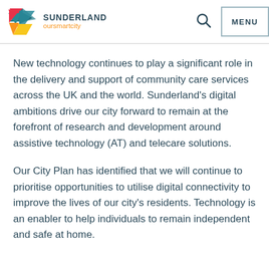[Figure (logo): Sunderland Our Smart City logo with geometric diamond shape in red, teal, and yellow, alongside text 'SUNDERLAND oursmartcity']
New technology continues to play a significant role in the delivery and support of community care services across the UK and the world. Sunderland’s digital ambitions drive our city forward to remain at the forefront of research and development around assistive technology (AT) and telecare solutions.
Our City Plan has identified that we will continue to prioritise opportunities to utilise digital connectivity to improve the lives of our city’s residents. Technology is an enabler to help individuals to remain independent and safe at home.